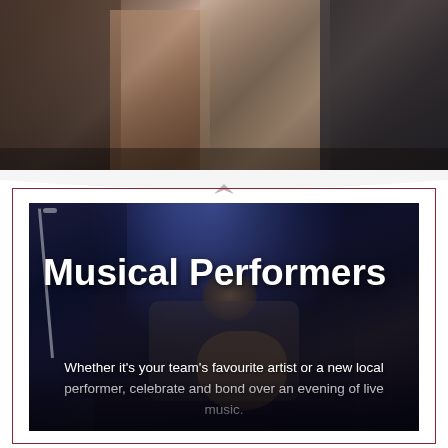[Figure (photo): Crowd of people dancing and celebrating at a social event, photographed in low light with warm tones.]
[Figure (photo): A curly-haired guitarist performing on stage with blue spotlight lighting and a microphone stand, with overlay text reading 'Musical Performers' and descriptive text below.]
Musical Performers
Whether it's your team's favourite artist or a new local performer, celebrate and bond over an evening of live music.